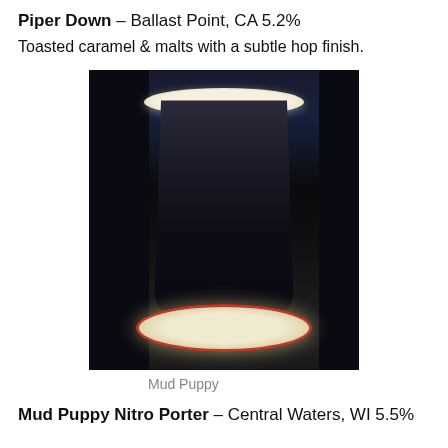Piper Down – Ballast Point, CA 5.2%
Toasted caramel & malts with a subtle hop finish.
[Figure (photo): A dark pint of beer (Mud Puppy Nitro Porter) in a glass sitting on a coaster, photographed in a dimly lit bar setting.]
Mud Puppy
Mud Puppy Nitro Porter – Central Waters, WI 5.5%